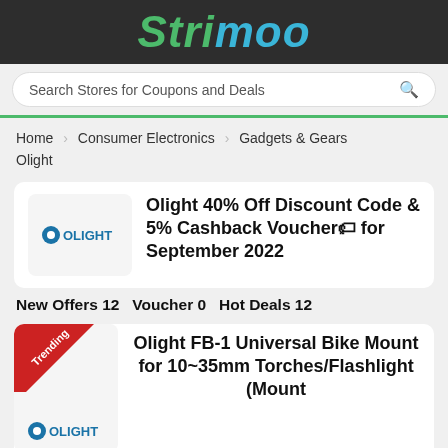Strimoo
Search Stores for Coupons and Deals
Home   Consumer Electronics   Gadgets & Gears   Olight
Olight 40% Off Discount Code & 5% Cashback Voucher🏷 for September 2022
New Offers 12   Voucher 0   Hot Deals 12
Olight FB-1 Universal Bike Mount for 10~35mm Torches/Flashlight (Mount